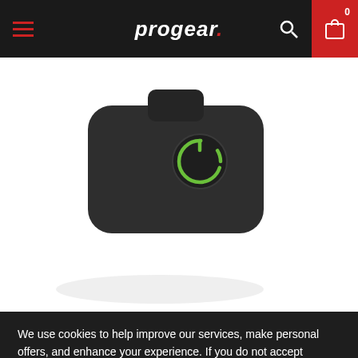progear.
[Figure (photo): Product photo of a dark grey Bluetooth earphone/headset with a green circular logo, photographed against a white background.]
We use cookies to help improve our services, make personal offers, and enhance your experience. If you do not accept optional cookies below, your experience may be affected. If you want to know more, please read the Privacy and Cookie Policy.
Accept All Cookies
Custom Settings